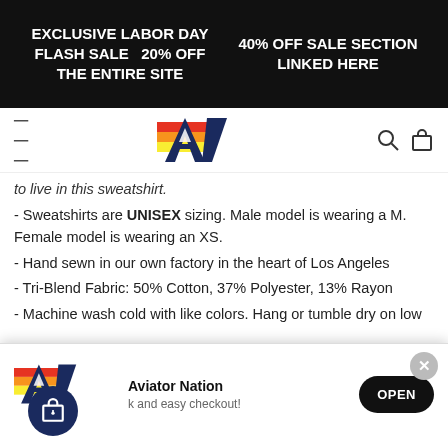EXCLUSIVE LABOR DAY FLASH SALE   20% OFF THE ENTIRE SITE | 40% OFF SALE SECTION LINKED HERE
[Figure (logo): Aviator Nation logo with stylized A/V and rainbow stripe, navigation bar with hamburger menu, search and bag icons]
to live in this sweatshirt.
Sweatshirts are UNISEX sizing. Male model is wearing a M. Female model is wearing an XS.
Hand sewn in our own factory in the heart of Los Angeles
Tri-Blend Fabric: 50% Cotton, 37% Polyester, 13% Rayon
Machine wash cold with like colors. Hang or tumble dry on low
[Figure (screenshot): Aviator Nation app install popup with logo, brand name, subtitle 'k and easy checkout!', close X button, and OPEN button]